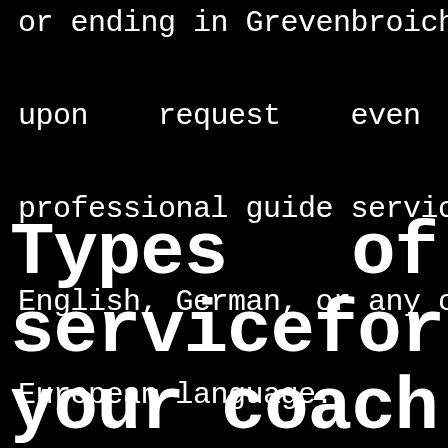or ending in Grevenbroich – upon request even with professional guide service in English, German, or any other European language.
Types of service for your coach